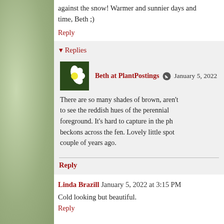against the snow! Warmer and sunnier days and time, Beth ;)
Reply
▾ Replies
Beth at PlantPostings [icon] January 5, 2022
There are so many shades of brown, aren't to see the reddish hues of the perennial foreground. It's hard to capture in the photo beckons across the fen. Lovely little spot couple of years ago.
Reply
Linda Brazill January 5, 2022 at 3:15 PM
Cold looking but beautiful.
Reply